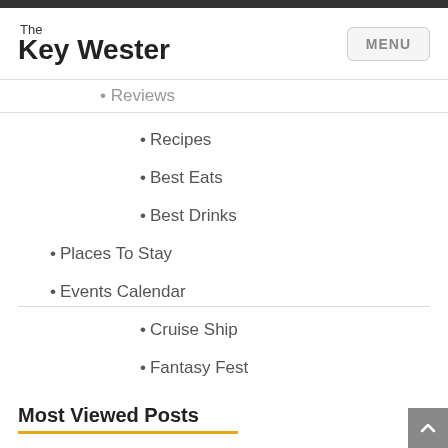The Key Wester
Reviews
Recipes
Best Eats
Best Drinks
Places To Stay
Events Calendar
Cruise Ship
Fantasy Fest
Fishing Tournaments
Most Viewed Posts